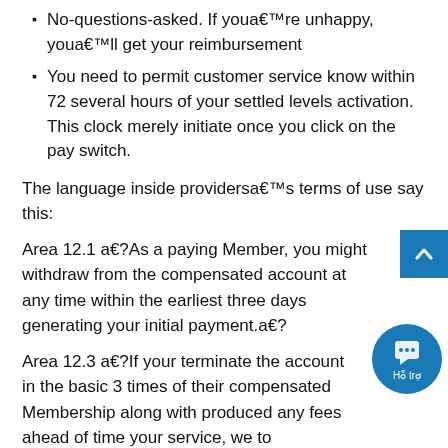No-questions-asked. If youa€™re unhappy, youa€™ll get your reimbursement
You need to permit customer service know within 72 several hours of your settled levels activation. This clock merely initiate once you click on the pay switch.
The language inside providersa€™s terms of use say this:
Area 12.1 a€?As a paying Member, you might withdraw from the compensated account at any time within the earliest three days generating your initial payment.a€?
Area 12.3 a€?If your terminate the account in the basic 3 times of their compensated Membership along with produced any fees ahead of time your service, we to reimburse these quantities to you personally.a€?
How long could be the trial offer?